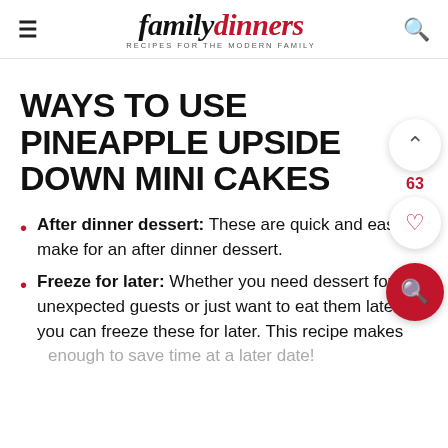family dinners — RECIPES FOR THE MODERN FAMILY
WAYS TO USE PINEAPPLE UPSIDE DOWN MINI CAKES
After dinner dessert: These are quick and easy to make for an after dinner dessert.
Freeze for later: Whether you need dessert for unexpected guests or just want to eat them later, you can freeze these for later. This recipe makes enough to save time at a later date!